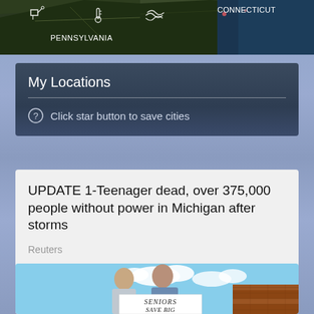[Figure (screenshot): Weather map showing northeastern US states including Pennsylvania and Connecticut with weather icons (satellite, temperature, wind) overlaid on a dark map]
My Locations
Click star button to save cities
UPDATE 1-Teenager dead, over 375,000 people without power in Michigan after storms
Reuters
[Figure (photo): Two elderly people (a man and a woman) holding a sign that reads 'Seniors Save Big' with a brick building background and blue sky]